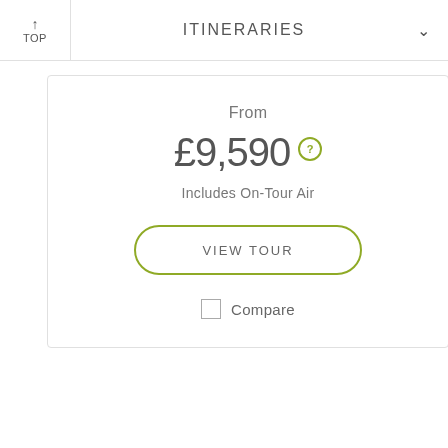↑ TOP   ITINERARIES   ∨
From
£9,590 ?
Includes On-Tour Air
VIEW TOUR
Compare